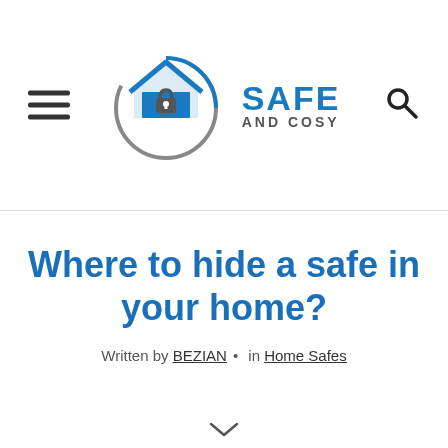Safe and Cosy — logo header with navigation
Where to hide a safe in your home?
Written by BEZIAN • in Home Safes